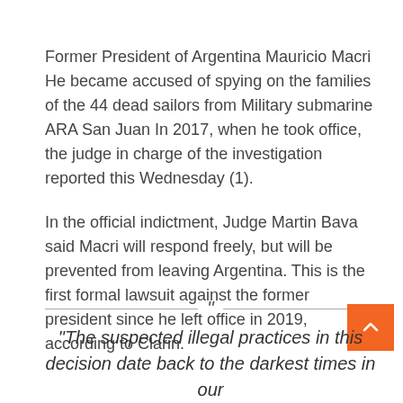Former President of Argentina Mauricio Macri He became accused of spying on the families of the 44 dead sailors from Military submarine ARA San Juan In 2017, when he took office, the judge in charge of the investigation reported this Wednesday (1).
In the official indictment, Judge Martin Bava said Macri will respond freely, but will be prevented from leaving Argentina. This is the first formal lawsuit against the former president since he left office in 2019, according to Clarin.
“The suspected illegal practices in this decision date back to the darkest times in our